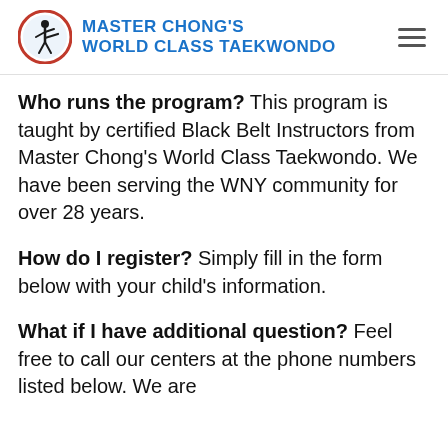MASTER CHONG'S WORLD CLASS TAEKWONDO
Who runs the program? This program is taught by certified Black Belt Instructors from Master Chong's World Class Taekwondo. We have been serving the WNY community for over 28 years.
How do I register? Simply fill in the form below with your child's information.
What if I have additional question? Feel free to call our centers at the phone numbers listed below. We are happy to help in any way.